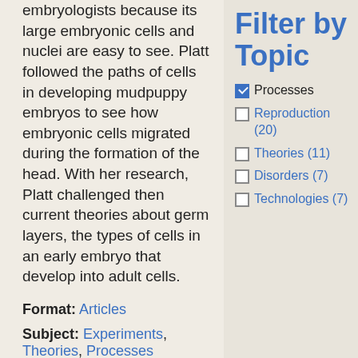embryologists because its large embryonic cells and nuclei are easy to see. Platt followed the paths of cells in developing mudpuppy embryos to see how embryonic cells migrated during the formation of the head. With her research, Platt challenged then current theories about germ layers, the types of cells in an early embryo that develop into adult cells.
Format: Articles
Subject: Experiments, Theories, Processes
Filter by Topic
☑ Processes
☐ Reproduction (20)
☐ Theories (11)
☐ Disorders (7)
☐ Technologies (7)